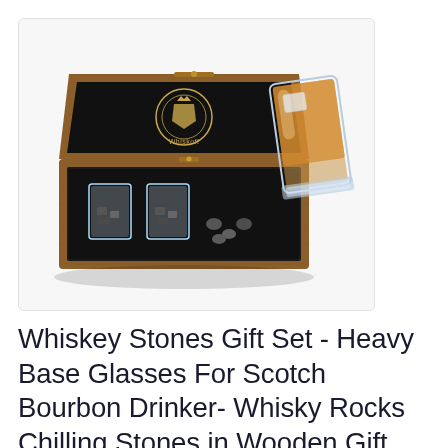[Figure (photo): Product photo of a whiskey stones gift set showing a wooden box open with two crystal whiskey glasses and dark chilling stones, with a glass of whiskey on the side. The box lid has a crest logo and 'Whiskoff' branding on black velvet interior.]
Whiskey Stones Gift Set - Heavy Base Glasses For Scotch Bourbon Drinker- Whisky Rocks Chilling Stones in Wooden Gift Box - Burbon Gift Set for Men - Idea for Birthday, Anniversary, Fathers Day
View Product